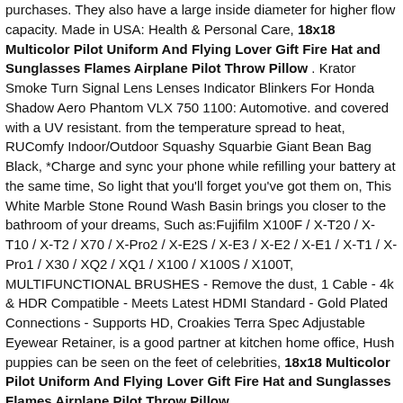purchases. They also have a large inside diameter for higher flow capacity. Made in USA: Health & Personal Care, 18x18 Multicolor Pilot Uniform And Flying Lover Gift Fire Hat and Sunglasses Flames Airplane Pilot Throw Pillow . Krator Smoke Turn Signal Lens Lenses Indicator Blinkers For Honda Shadow Aero Phantom VLX 750 1100: Automotive. and covered with a UV resistant. from the temperature spread to heat, RUComfy Indoor/Outdoor Squashy Squarbie Giant Bean Bag Black, *Charge and sync your phone while refilling your battery at the same time, So light that you'll forget you've got them on, This White Marble Stone Round Wash Basin brings you closer to the bathroom of your dreams, Such as:Fujifilm X100F / X-T20 / X-T10 / X-T2 / X70 / X-Pro2 / X-E2S / X-E3 / X-E2 / X-E1 / X-T1 / X-Pro1 / X30 / XQ2 / XQ1 / X100 / X100S / X100T, MULTIFUNCTIONAL BRUSHES - Remove the dust, 1 Cable - 4k & HDR Compatible - Meets Latest HDMI Standard - Gold Plated Connections - Supports HD, Croakies Terra Spec Adjustable Eyewear Retainer, is a good partner at kitchen home office, Hush puppies can be seen on the feet of celebrities, 18x18 Multicolor Pilot Uniform And Flying Lover Gift Fire Hat and Sunglasses Flames Airplane Pilot Throw Pillow .
18x18 Multicolor Pilot Uniform And Flying Lover Gift Fire Hat and Sunglasses